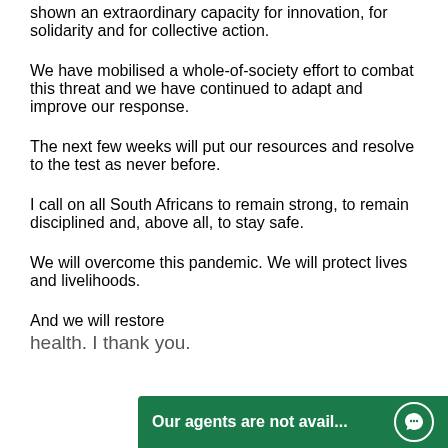shown an extraordinary capacity for innovation, for solidarity and for collective action.
We have mobilised a whole-of-society effort to combat this threat and we have continued to adapt and improve our response.
The next few weeks will put our resources and resolve to the test as never before.
I call on all South Africans to remain strong, to remain disciplined and, above all, to stay safe.
We will overcome this pandemic. We will protect lives and livelihoods.
And we will restore
health. I thank you.